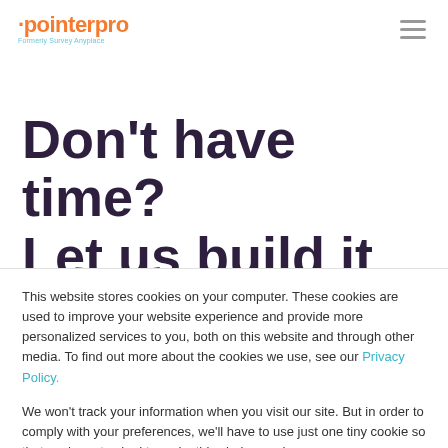[Figure (logo): PointerPro logo — orange wordmark with dot above 'i', subtitle 'Formerly Survey Anyplace' in teal]
Don't have time? Let us build it for
This website stores cookies on your computer. These cookies are used to improve your website experience and provide more personalized services to you, both on this website and through other media. To find out more about the cookies we use, see our Privacy Policy.
We won't track your information when you visit our site. But in order to comply with your preferences, we'll have to use just one tiny cookie so that you're not asked to make this choice again.